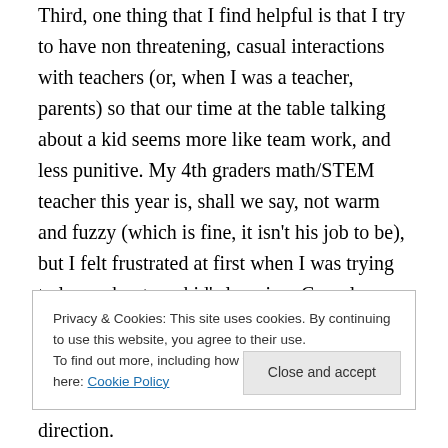Third, one thing that I find helpful is that I try to have non threatening, casual interactions with teachers (or, when I was a teacher, parents) so that our time at the table talking about a kid seems more like team work, and less punitive. My 4th graders math/STEM teacher this year is, shall we say, not warm and fuzzy (which is fine, it isn't his job to be), but I felt frustrated at first when I was trying to learn about my kid's learning. Casual comments, thanks for gently pushing the child, easy questions. Last week, I
Privacy & Cookies: This site uses cookies. By continuing to use this website, you agree to their use.
To find out more, including how to control cookies, see here: Cookie Policy
direction.